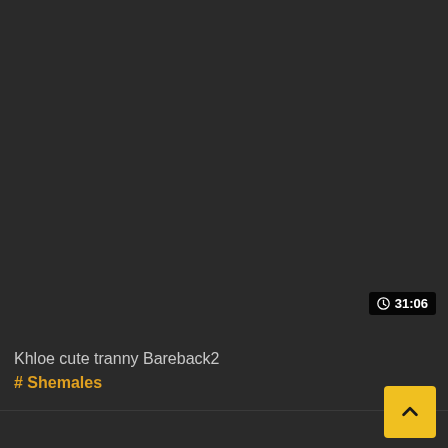[Figure (screenshot): Dark video thumbnail placeholder area]
31:06
Khloe cute tranny Bareback2
# Shemales